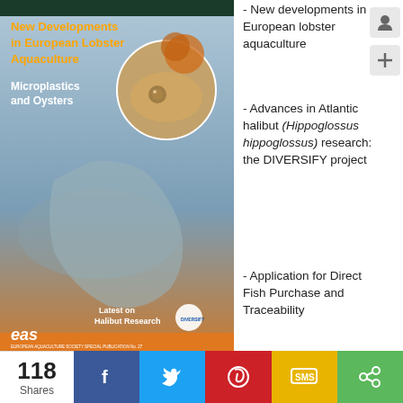[Figure (photo): Book cover for EAS publication featuring European lobster aquaculture, microplastics and oysters, and halibut research, with underwater aquatic imagery.]
- New developments in European lobster aquaculture
- Advances in Atlantic halibut (Hippoglossus hippoglossus) research: the DIVERSIFY project
- Application for Direct Fish Purchase and Traceability
- Microdiets designed for fast-growing fish larvae improve performance in gilthead seabream and meagre
- Polystyrene microplastics are reprotoxic for oyster
- The science of augmenting marine finfish larval abundance is poorly studied in Indian seas
- Institute of Aquaculture unveils new management team
- Salmon feed innovations set to boost Scotland's biggest food export market
- Aquaculture meetings - calendar